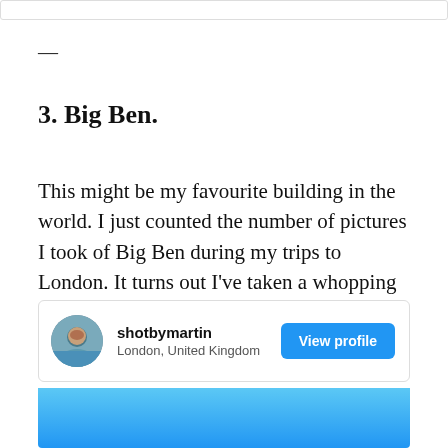—
3. Big Ben.
This might be my favourite building in the world. I just counted the number of pictures I took of Big Ben during my trips to London. It turns out I've taken a whopping 36. (I swear each one is better than the last.)
[Figure (infographic): Instagram-style profile card for user 'shotbymartin' located in London, United Kingdom, with a circular avatar photo and a blue 'View profile' button]
[Figure (photo): Partial blue sky/landscape photo strip at the bottom]